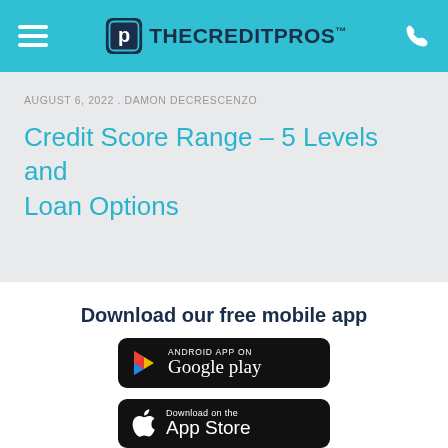THE CREDIT PROS™
AUGUST 6, 2022 . DAMON DECRESCENZO
Credit Score Range – 5 Levels and Loan Options
Download our free mobile app
[Figure (screenshot): Google Play Store download button — black rounded rectangle badge with Google Play triangle icon and text 'ANDROID APP ON Google play']
[Figure (screenshot): Apple App Store download button — black rounded rectangle badge with Apple logo and text 'Download on the App Store']